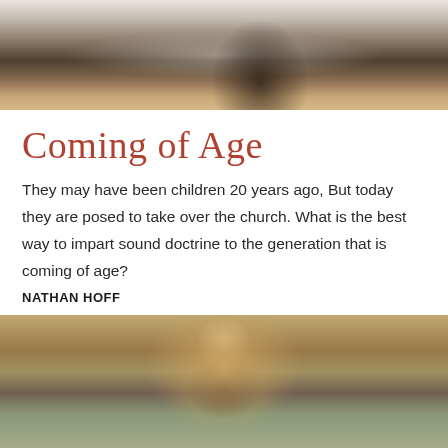[Figure (photo): Top portion of a person holding a bag, wearing dark pants, photographed from the waist down on a light background.]
Coming of Age
They may have been children 20 years ago, But today they are posed to take over the church. What is the best way to impart sound doctrine to the generation that is coming of age?
NATHAN HOFF
[Figure (photo): Close-up photo of a young child with curly hair wearing a cap, with blurred figures in the background outdoors.]